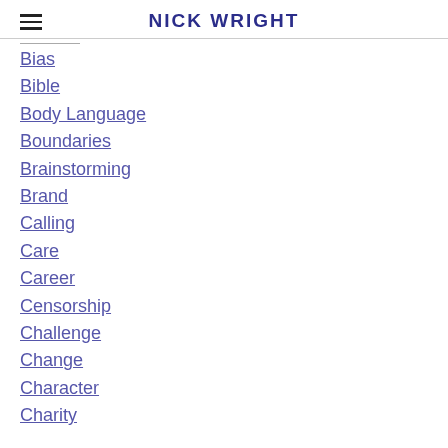NICK WRIGHT
Bias
Bible
Body Language
Boundaries
Brainstorming
Brand
Calling
Care
Career
Censorship
Challenge
Change
Character
Charity